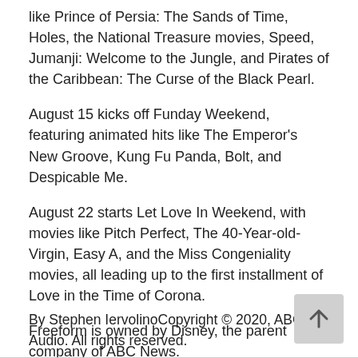like Prince of Persia: The Sands of Time, Holes, the National Treasure movies, Speed, Jumanji: Welcome to the Jungle, and Pirates of the Caribbean: The Curse of the Black Pearl.
August 15 kicks off Funday Weekend, featuring animated hits like The Emperor's New Groove, Kung Fu Panda, Bolt, and Despicable Me.
August 22 starts Let Love In Weekend, with movies like Pitch Perfect, The 40-Year-old-Virgin, Easy A, and the Miss Congeniality movies, all leading up to the first installment of Love in the Time of Corona.
Freeform is owned by Disney, the parent company of ABC News.
By Stephen IervolinoCopyright © 2020, ABC Audio. All rights reserved.